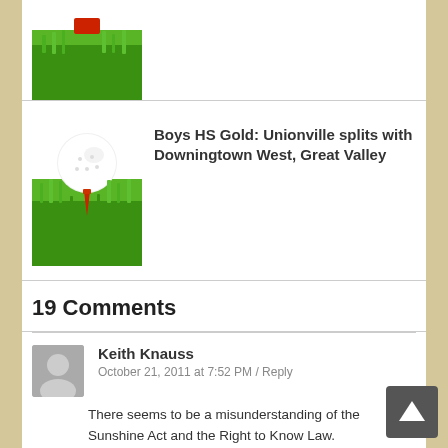[Figure (photo): Golf ball on tee in grass thumbnail (partially visible at top)]
[Figure (photo): Golf ball on red tee in grass thumbnail]
Boys HS Gold: Unionville splits with Downingtown West, Great Valley
19 Comments
Keith Knauss
October 21, 2011 at 7:52 PM / Reply
There seems to be a misunderstanding of the Sunshine Act and the Right to Know Law.
1. In March the Board heard a presentation in executive session in full compliance with the Sunshine Act as mentioned above in a quote by Superintendent Parker. The Board is under no obligation to ever release that presentation under the Right to Know Law. BUT –
2. The Board goes ahead anyway in the interests of